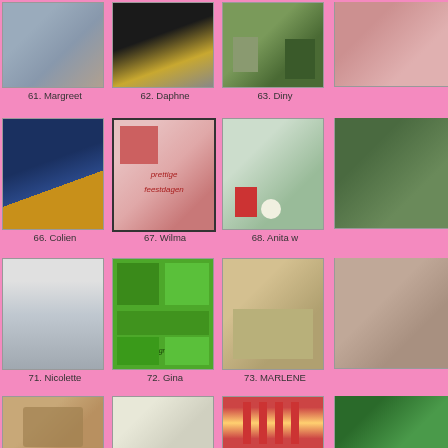[Figure (photo): Grid of craft/card thumbnails with labels. Row 1: 61. Margreet, 62. Daphne, 63. Diny, (64 partial). Row 2: 66. Colien, 67. Wilma, 68. Anita w, (69 partial). Row 3: 71. Nicolette, 72. Gina, 73. MARLENE, (74 partial). Row 4: partial row of 4 thumbnails.]